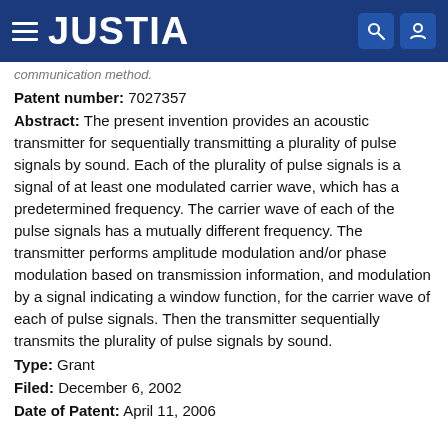JUSTIA
communication method.
Patent number: 7027357
Abstract: The present invention provides an acoustic transmitter for sequentially transmitting a plurality of pulse signals by sound. Each of the plurality of pulse signals is a signal of at least one modulated carrier wave, which has a predetermined frequency. The carrier wave of each of the pulse signals has a mutually different frequency. The transmitter performs amplitude modulation and/or phase modulation based on transmission information, and modulation by a signal indicating a window function, for the carrier wave of each of pulse signals. Then the transmitter sequentially transmits the plurality of pulse signals by sound.
Type: Grant
Filed: December 6, 2002
Date of Patent: April 11, 2006